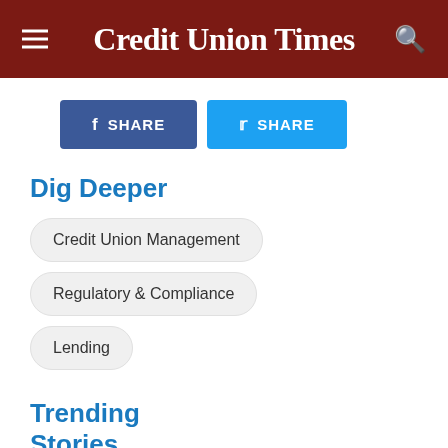Credit Union Times
[Figure (screenshot): Facebook Share button and Twitter Share button]
Dig Deeper
Credit Union Management
Regulatory & Compliance
Lending
Trending Stories
1 PenFed Sells